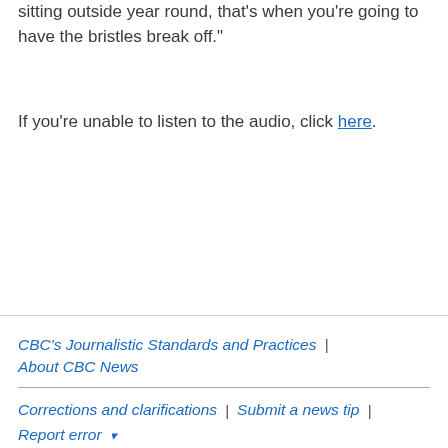sitting outside year round, that's when you're going to have the bristles break off."
If you're unable to listen to the audio, click here.
CBC's Journalistic Standards and Practices | About CBC News | Corrections and clarifications | Submit a news tip | Report error ▾